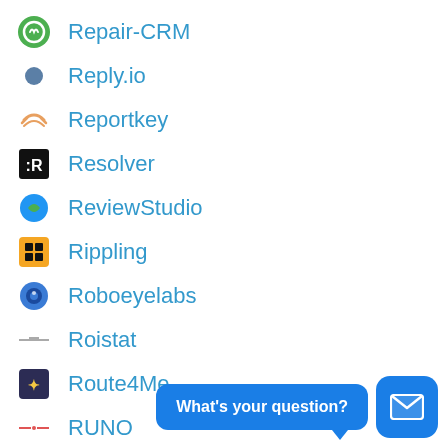Repair-CRM
Reply.io
Reportkey
Resolver
ReviewStudio
Rippling
Roboeyelabs
Roistat
Route4Me
RUNO
Rydoo
Safesite
[Figure (other): Chat support widget with 'What's your question?' bubble and mail icon button]